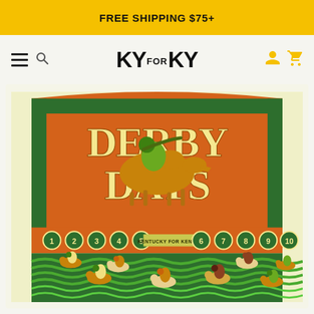FREE SHIPPING $75+
[Figure (logo): KY for KY brand logo with hamburger menu and search icon on left, person and cart icons on right]
[Figure (illustration): Derby Days vintage-style illustration showing horse race scene with jockeys on horses, numbered gates 1-10, green wavy track with multiple horses and riders, orange and green color scheme, 'KENTUCKY FOR KENTUCKY' text banner]